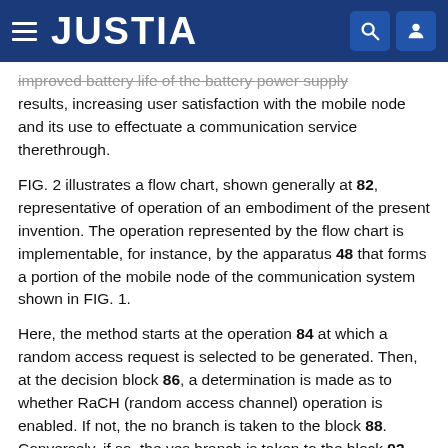JUSTIA
improved battery life of the battery power supply results, increasing user satisfaction with the mobile node and its use to effectuate a communication service therethrough.
FIG. 2 illustrates a flow chart, shown generally at 82, representative of operation of an embodiment of the present invention. The operation represented by the flow chart is implementable, for instance, by the apparatus 48 that forms a portion of the mobile node of the communication system shown in FIG. 1.
Here, the method starts at the operation 84 at which a random access request is selected to be generated. Then, at the decision block 86, a determination is made as to whether RaCH (random access channel) operation is enabled. If not, the no branch is taken to the block 88. Conversely, if so, the yes branch is taken to the block 92.